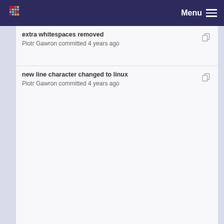Menu
extra whitespaces removed
Piotr Gawron committed 4 years ago
new line character changed to linux
Piotr Gawron committed 4 years ago
extra whitespaces removed
Piotr Gawron committed 4 years ago
new line character changed to linux
Piotr Gawron committed 4 years ago